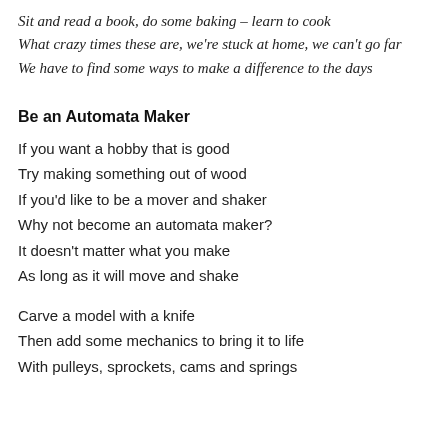Sit and read a book, do some baking – learn to cook
What crazy times these are, we're stuck at home, we can't go far
We have to find some ways to make a difference to the days
Be an Automata Maker
If you want a hobby that is good
Try making something out of wood
If you'd like to be a mover and shaker
Why not become an automata maker?
It doesn't matter what you make
As long as it will move and shake
Carve a model with a knife
Then add some mechanics to bring it to life
With pulleys, sprockets, cams and springs